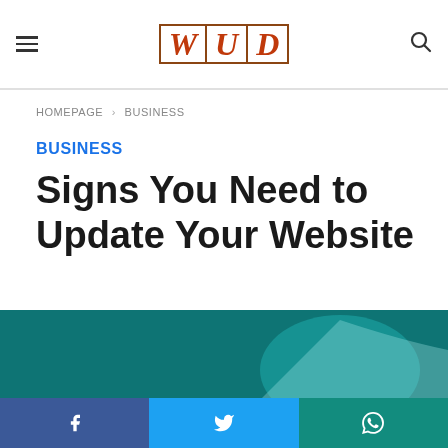WUD
HOMEPAGE > BUSINESS
BUSINESS
Signs You Need to Update Your Website
[Figure (photo): A person writing or sketching with a pen on paper at a desk, rendered with a teal/cyan color overlay tint. Business/technology themed image.]